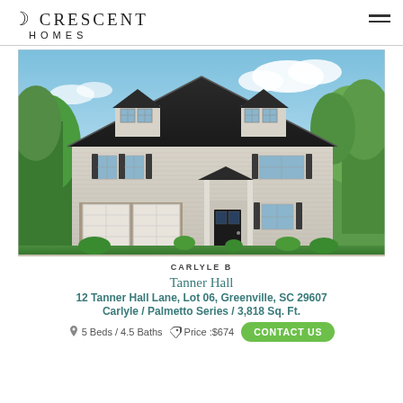Crescent Homes
[Figure (photo): Exterior rendering of a two-story craftsman-style home with dark roof, dormers, white garage door, covered porch, and landscaping. Color rendering labeled Carlyle B.]
CARLYLE B
Tanner Hall
12 Tanner Hall Lane, Lot 06, Greenville, SC 29607
Carlyle / Palmetto Series / 3,818 Sq. Ft.
5 Beds / 4.5 Baths   Price: $674... CONTACT US